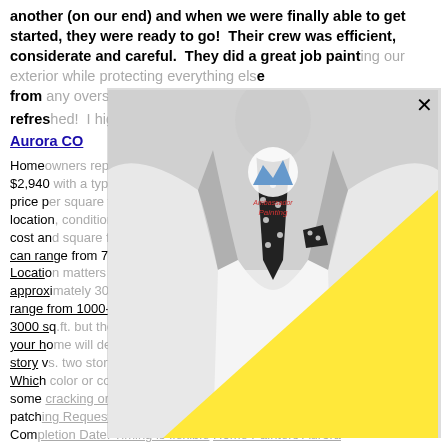another (on our end) and when we were finally able to get started, they were ready to go!  Their crew was efficient, considerate and careful.  They did a great job painting our exterior while protecting everything else from any overspray.  Our house looks beautiful and refreshed!  I highly recommend!  We worked with. Home Painters Aurora CO
Homeowners report that painting a home's exterior costs an average of $2,940 with a typical range between $1,744 and $4,146. The average price per square foot ranges from $0.50 to $3.50 depending on your location, condition and size of the home. Exterior painting average cost and square footage notes: The average house is 1500 Sq.Ft though it can range from 700 to over 3000 Sq.Ft. Location matters a lot with approximately 30% price range variance from state to state. Most homes range from 1000-3000 sq.ft. but the actual size of your home will determine most of the cost of painting. One story vs. two story. How much prep work is needed. Which color or colors... Has some cracking or peeling that may require filling and patching Request Stage: Planning & Budgeting Desired Completion Date: Timing is flexible Home Painters Aurora CO
[Figure (photo): A black and white photo of a man in a suit with a polka dot tie and pocket square, with an Ambassador Painting logo overlay and a large yellow triangle shape overlaid on the lower right portion of the image.]
"Like any homeowner contemplating painting, repairing, or remodeling,